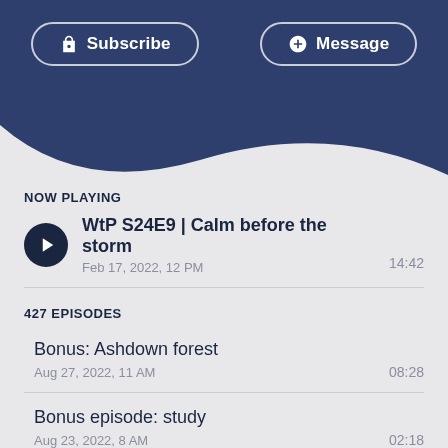[Figure (screenshot): Header with dark navy blue background and wave SVG transition to light grey content area]
Subscribe
Message
NOW PLAYING
WtP S24E9 | Calm before the storm
Feb 17, 2022, 12 PM
14:42
427 EPISODES
Bonus: Ashdown forest
Aug 27, 2022, 11 AM
08:28
Bonus episode: study
Aug 23, 2022, 8 AM
02:18